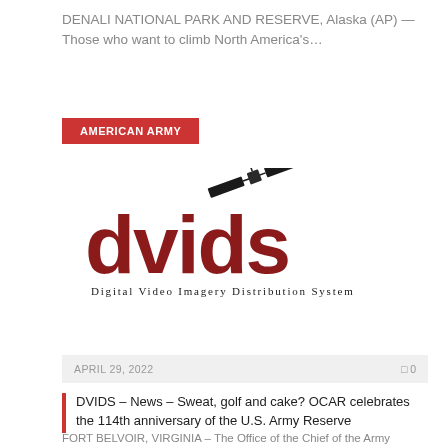DENALI NATIONAL PARK AND RESERVE, Alaska (AP) — Those who want to climb North America's…
AMERICAN ARMY
[Figure (logo): DVIDS – Digital Video Imagery Distribution System logo with satellite graphic above the letters 'dvids' in dark red, and subtitle 'Digital Video Imagery Distribution System' in small caps below]
APRIL 29, 2022   0
DVIDS – News – Sweat, golf and cake? OCAR celebrates the 114th anniversary of the U.S. Army Reserve
FORT BELVOIR, VIRGINIA – The Office of the Chief of the Army